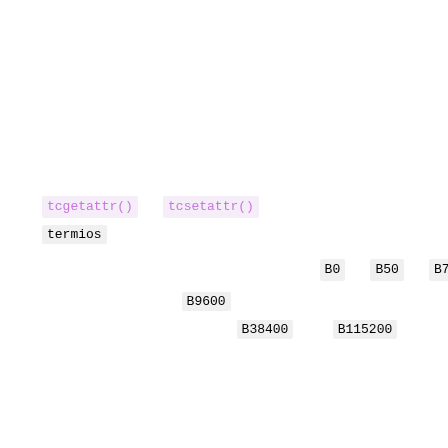tcgetattr() tcsetattr() struct termios
B0 B50 B75 B110
B9600
B38400 B115200